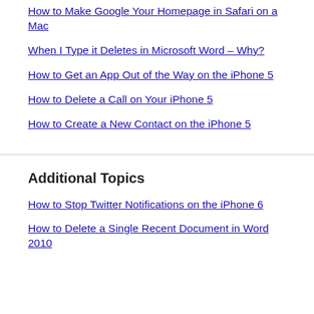How to Make Google Your Homepage in Safari on a Mac
When I Type it Deletes in Microsoft Word – Why?
How to Get an App Out of the Way on the iPhone 5
How to Delete a Call on Your iPhone 5
How to Create a New Contact on the iPhone 5
Additional Topics
How to Stop Twitter Notifications on the iPhone 6
How to Delete a Single Recent Document in Word 2010